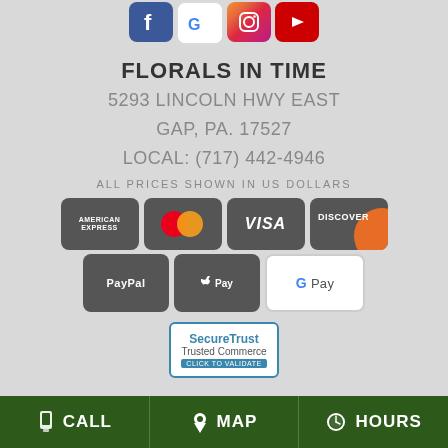[Figure (logo): Social media icons: Facebook, Google, Instagram, YouTube]
FLORALS IN TIME
5293 LINCOLN HWY EAST
GAP, PA. 17527
LOCAL: (717) 442-4946
ALL PRICES SHOWN IN US DOLLARS
[Figure (logo): Payment method logos: American Express, Mastercard, Visa, Discover, PayPal, Apple Pay, Google Pay]
[Figure (logo): SecureTrust Trusted Commerce - Click to Validate badge]
CALL   MAP   HOURS